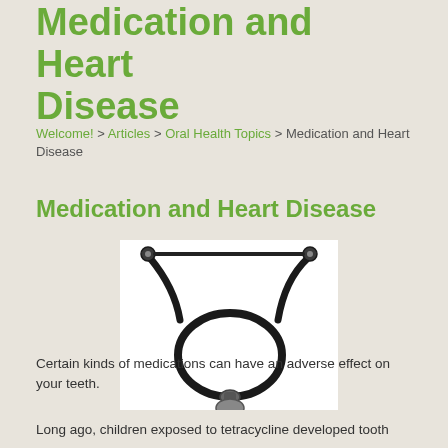Medication and Heart Disease
Welcome! > Articles > Oral Health Topics > Medication and Heart Disease
Medication and Heart Disease
[Figure (photo): A black stethoscope coiled on a white background]
Certain kinds of medications can have an adverse effect on your teeth.
Long ago, children exposed to tetracycline developed tooth